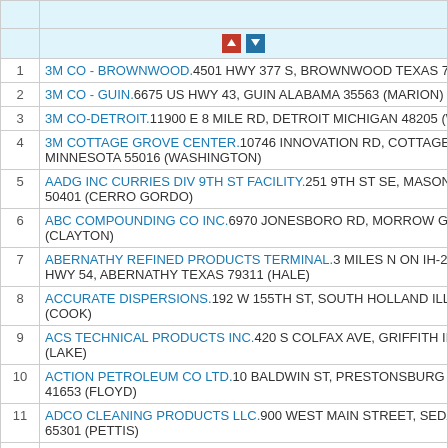| # | Facility Name / Address |
| --- | --- |
| 1 | 3M CO - BROWNWOOD.4501 HWY 377 S, BROWNWOOD TEXAS 7680... |
| 2 | 3M CO - GUIN.6675 US HWY 43, GUIN ALABAMA 35563 (MARION) |
| 3 | 3M CO-DETROIT.11900 E 8 MILE RD, DETROIT MICHIGAN 48205 (WAY... |
| 4 | 3M COTTAGE GROVE CENTER.10746 INNOVATION RD, COTTAGE GR... MINNESOTA 55016 (WASHINGTON) |
| 5 | AADG INC CURRIES DIV 9TH ST FACILITY.251 9TH ST SE, MASON CIT... 50401 (CERRO GORDO) |
| 6 | ABC COMPOUNDING CO INC.6970 JONESBORO RD, MORROW GEO... (CLAYTON) |
| 7 | ABERNATHY REFINED PRODUCTS TERMINAL.3 MILES N ON IH-27 1/2... HWY 54, ABERNATHY TEXAS 79311 (HALE) |
| 8 | ACCURATE DISPERSIONS.192 W 155TH ST, SOUTH HOLLAND ILLINO... (COOK) |
| 9 | ACS TECHNICAL PRODUCTS INC.420 S COLFAX AVE, GRIFFITH INDIA... (LAKE) |
| 10 | ACTION PETROLEUM CO LTD.10 BALDWIN ST, PRESTONSBURG KEN... 41653 (FLOYD) |
| 11 | ADCO CLEANING PRODUCTS LLC.900 WEST MAIN STREET, SEDALIA... 65301 (PETTIS) |
| 12 | ADM DECATUR COMPLEX.4666 FARIES PKWY E, DECATUR ILLINOIS... (MACON) |